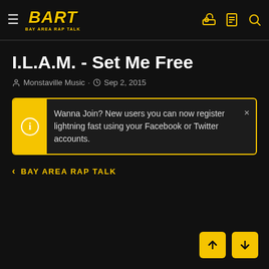BART - BAY AREA RAP TALK
I.L.A.M. - Set Me Free
Monstavile Music · Sep 2, 2015
Wanna Join? New users you can now register lightning fast using your Facebook or Twitter accounts.
< BAY AREA RAP TALK